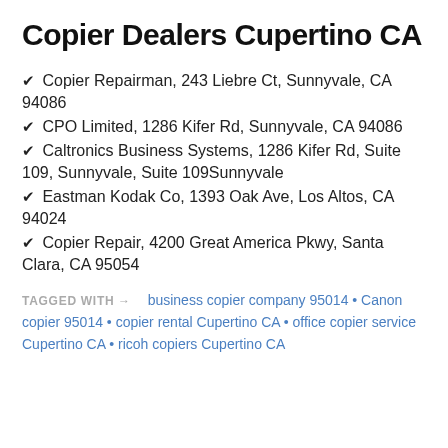Copier Dealers Cupertino CA
Copier Repairman, 243 Liebre Ct, Sunnyvale, CA 94086
CPO Limited, 1286 Kifer Rd, Sunnyvale, CA 94086
Caltronics Business Systems, 1286 Kifer Rd, Suite 109, Sunnyvale, Suite 109Sunnyvale
Eastman Kodak Co, 1393 Oak Ave, Los Altos, CA 94024
Copier Repair, 4200 Great America Pkwy, Santa Clara, CA 95054
TAGGED WITH → business copier company 95014 • Canon copier 95014 • copier rental Cupertino CA • office copier service Cupertino CA • ricoh copiers Cupertino CA